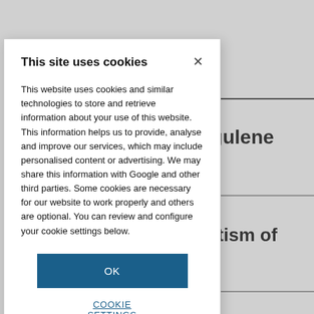a-triangulene
-favouritism of
This site uses cookies
This website uses cookies and similar technologies to store and retrieve information about your use of this website. This information helps us to provide, analyse and improve our services, which may include personalised content or advertising. We may share this information with Google and other third parties. Some cookies are necessary for our website to work properly and others are optional. You can review and configure your cookie settings below.
OK
COOKIE SETTINGS